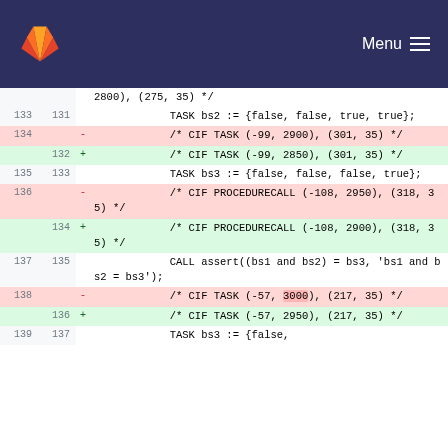GitLab · Menu
2800), (275, 35) */
133  131     TASK bs2 := {false, false, true, true};
134   -             /* CIF TASK (-99, 2900), (301, 35) */
132  +             /* CIF TASK (-99, 2850), (301, 35) */
135  133     TASK bs3 := {false, false, false, true};
136   -             /* CIF PROCEDURECALL (-108, 2950), (318, 35) */
134  +             /* CIF PROCEDURECALL (-108, 2900), (318, 35) */
137  135     CALL assert((bs1 and bs2) = bs3, 'bs1 and bs2 = bs3');
138   -             /* CIF TASK (-57, 3000), (217, 35) */
136  +             /* CIF TASK (-57, 2950), (217, 35) */
139  137     TASK bs3 := {false,